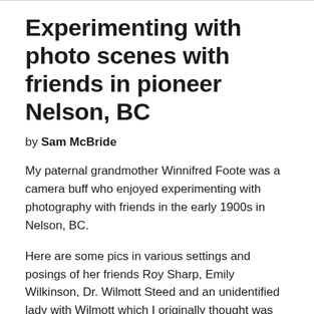Experimenting with photo scenes with friends in pioneer Nelson, BC
by Sam McBride
My paternal grandmother Winnifred Foote was a camera buff who enjoyed experimenting with photography with friends in the early 1900s in Nelson, BC.
Here are some pics in various settings and posings of her friends Roy Sharp, Emily Wilkinson, Dr. Wilmott Steed and an unidentified lady with Wilmott which I originally thought was his future wife Elizabeth “Bessie” Lillie but I learned it was someone else.  The year was likely between 1908 and 1910.  You can imagine that at some point in the